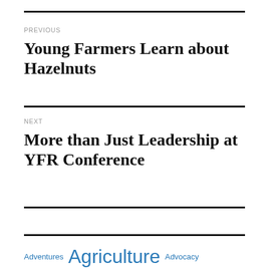PREVIOUS
Young Farmers Learn about Hazelnuts
NEXT
More than Just Leadership at YFR Conference
Adventures Agriculture Advocacy